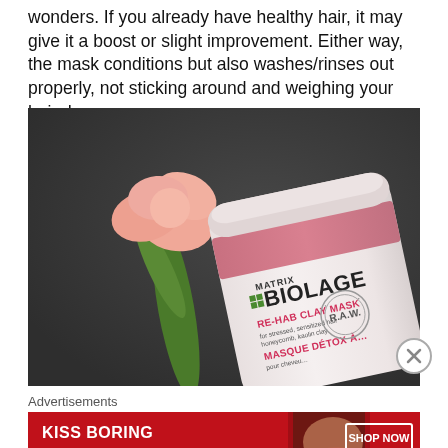wonders. If you already have healthy hair, it may give it a boost or slight improvement. Either way, the mask conditions but also washes/rinses out properly, not sticking around and weighing your hair down.
[Figure (photo): Photo of Matrix Biolage Re-Hab Clay Mask product jar, white cylindrical container with pink band near lid, label reads MATRIX BIOLAGE RE-HAB CLAY MASK for stressed, sensitized hair honeycomb, kaolin clay MASQUE DÉTOX À... with R.A.W. circular logo stamp. Pink carnation flower visible in background against dark gray background.]
Advertisements
[Figure (photo): Advertisement banner: red background with text KISS BORING LIPS GOODBYE on left, photo of woman with red lipstick in center, SHOP NOW button and Macy's star logo on right.]